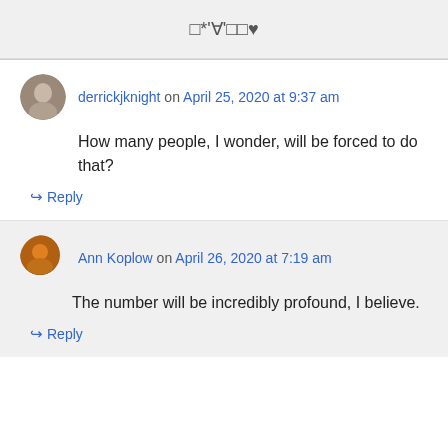□*'∀'□□♥
derrickjknight on April 25, 2020 at 9:37 am
How many people, I wonder, will be forced to do that?
↪ Reply
Ann Koplow on April 26, 2020 at 7:19 am
The number will be incredibly profound, I believe.
↪ Reply